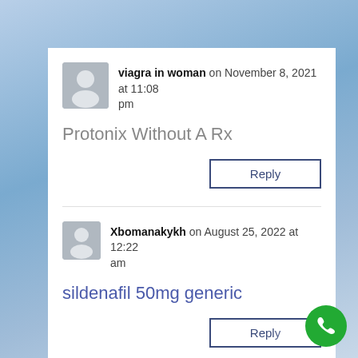viagra in woman on November 8, 2021 at 11:08 pm
Protonix Without A Rx
Reply
Xbomanakykh on August 25, 2022 at 12:22 am
sildenafil 50mg generic
Reply